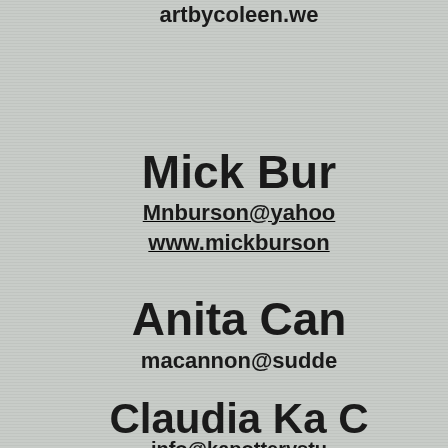artbycoleen.we...
Mick Bur...
Mnburson@yahoo...
www.mickburson...
Anita Can...
macannon@sudde...
Claudia Ka C...
info@kapotterystu...
http://www.kapottery...